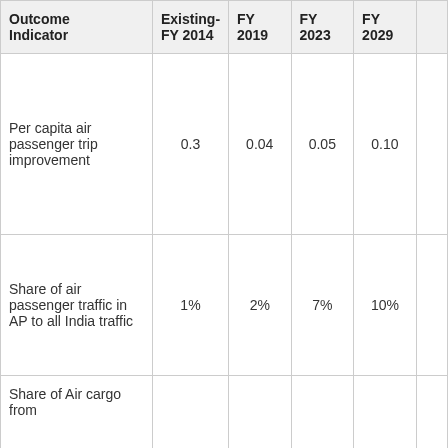| Outcome Indicator | Existing- FY 2014 | FY 2019 | FY 2023 | FY 2029 |  |
| --- | --- | --- | --- | --- | --- |
| Per capita air passenger trip improvement | 0.3 | 0.04 | 0.05 | 0.10 |  |
| Share of air passenger traffic in AP to all India traffic | 1% | 2% | 7% | 10% |  |
| Share of Air cargo from |  |  |  |  |  |